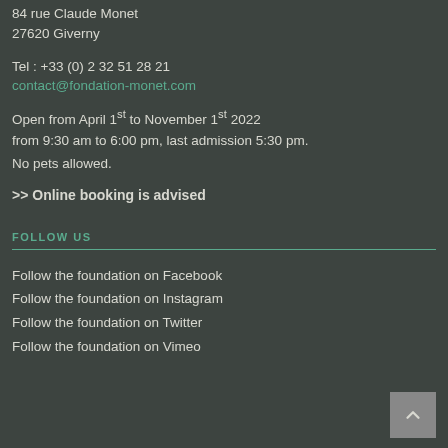84 rue Claude Monet
27620 Giverny
Tel : +33 (0) 2 32 51 28 21
contact@fondation-monet.com
Open from April 1st to November 1st 2022
from 9:30 am to 6:00 pm, last admission 5:30 pm.
No pets allowed.
>> Online booking is advised
FOLLOW US
Follow the foundation on Facebook
Follow the foundation on Instagram
Follow the foundation on Twitter
Follow the foundation on Vimeo